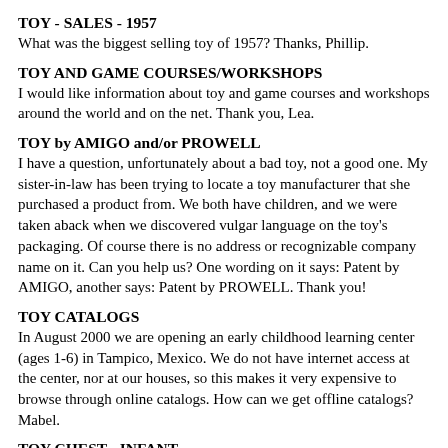TOY - SALES - 1957
What was the biggest selling toy of 1957? Thanks, Phillip.
TOY AND GAME COURSES/WORKSHOPS
I would like information about toy and game courses and workshops around the world and on the net. Thank you, Lea.
TOY by AMIGO and/or PROWELL
I have a question, unfortunately about a bad toy, not a good one. My sister-in-law has been trying to locate a toy manufacturer that she purchased a product from. We both have children, and we were taken aback when we discovered vulgar language on the toy's packaging. Of course there is no address or recognizable company name on it. Can you help us? One wording on it says: Patent by AMIGO, another says: Patent by PROWELL. Thank you!
TOY CATALOGS
In August 2000 we are opening an early childhood learning center (ages 1-6) in Tampico, Mexico. We do not have internet access at the center, nor at our houses, so this makes it very expensive to browse through online catalogs. How can we get offline catalogs? Mabel.
TOY CHEST - INFANT
I am looking for a soft toy chest for my infant. I would prefer one